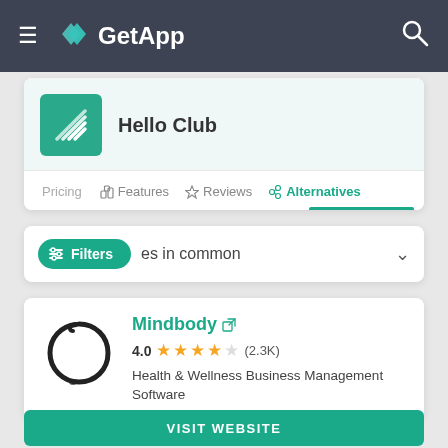GetApp
Hello Club
Pricing | Features | Reviews | Alternatives
Filters  es in common
Mindbody
4.0 (2.3K)
Health & Wellness Business Management Software
VISIT WEBSITE